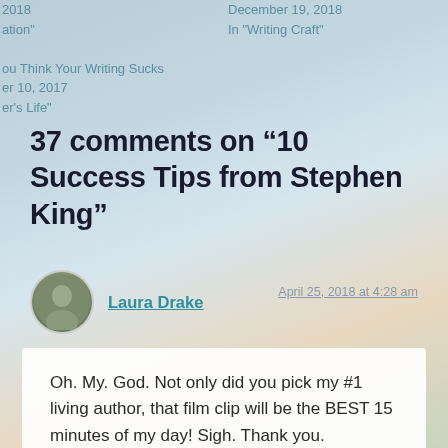2018
ation"

You Think Your Writing Sucks
er 10, 2017
er's Life"
December 19, 2018
In "Writing Craft"
37 comments on “10 Success Tips from Stephen King”
Laura Drake
April 25, 2018 at 4:28 am
Oh. My. God. Not only did you pick my #1 living author, that film clip will be the BEST 15 minutes of my day! Sigh. Thank you.